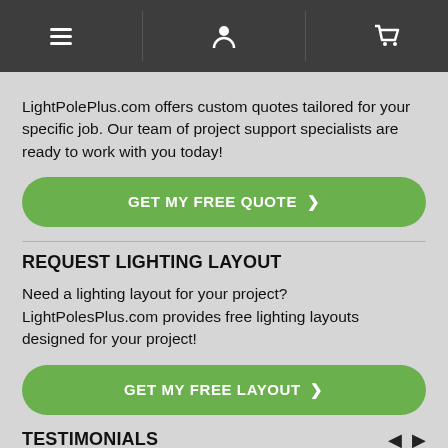[navigation icons: menu, user, cart]
LightPolePlus.com offers custom quotes tailored for your specific job. Our team of project support specialists are ready to work with you today!
[Figure (other): Green button: GET MY FREE QUOTE >]
REQUEST LIGHTING LAYOUT
Need a lighting layout for your project? LightPolesPlus.com provides free lighting layouts designed for your project!
[Figure (other): Green button: GET MY FREE LAYOUT >]
TESTIMONIALS
They did an amazing job. They supplied us with six light poles and the brackets for 18 LED lights. Ever since then it's been a flawless